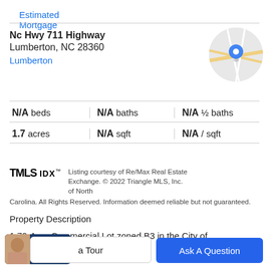Estimated Mortgage
Nc Hwy 711 Highway
Lumberton, NC 28360
Lumberton
[Figure (map): Circular map thumbnail with a blue location pin marker over a road map of Lumberton, NC]
| N/A beds | N/A baths | N/A ½ baths |
| 1.7 acres | N/A sqft | N/A / sqft |
Listing courtesy of Re/Max Real Estate Exchange. © 2022 Triangle MLS, Inc. of North Carolina. All Rights Reserved. Information deemed reliable but not guaranteed.
Property Description
1.70-Acre Commercial Lot zoned B3 in the City of
a Tour
Ask A Question